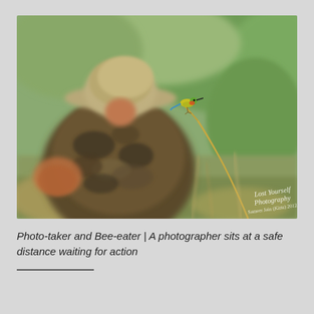[Figure (photo): A photographer in camouflage clothing and a wide-brimmed hat sits with back to camera in a field. In the background, slightly blurred green grass and vegetation. To the right, a small colorful bee-eater bird perches on a thin curved dry grass stem. A watermark in the bottom right reads 'Lost Yourself Photography / Sameer Jain (Kittu) 2012'.]
Photo-taker and Bee-eater | A photographer sits at a safe distance waiting for action